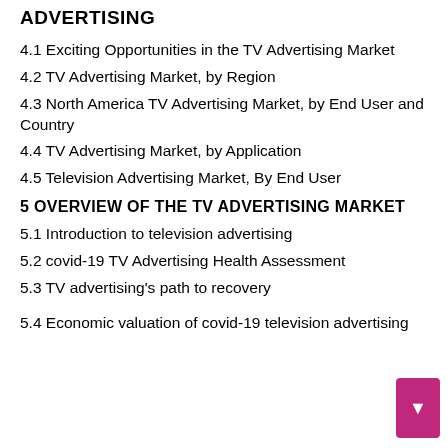ADVERTISING
4.1 Exciting Opportunities in the TV Advertising Market
4.2 TV Advertising Market, by Region
4.3 North America TV Advertising Market, by End User and Country
4.4 TV Advertising Market, by Application
4.5 Television Advertising Market, By End User
5 OVERVIEW OF THE TV ADVERTISING MARKET
5.1 Introduction to television advertising
5.2 covid-19 TV Advertising Health Assessment
5.3 TV advertising's path to recovery
5.4 Economic valuation of covid-19 television advertising